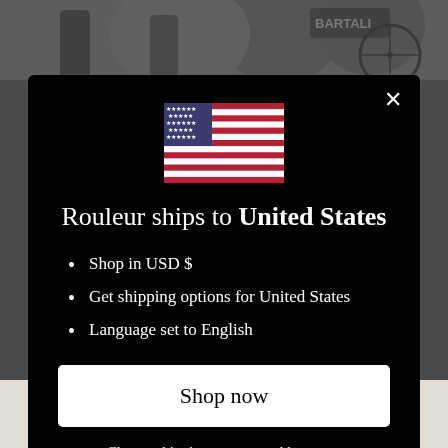[Figure (photo): Black and white photograph showing cyclists, partially visible at top of page behind modal overlay. A cap with 'BARTALI' text is visible.]
[Figure (illustration): United States flag emoji/image centered in modal]
Rouleur ships to United States
Shop in USD $
Get shipping options for United States
Language set to English
Shop now
Change shipping country and language
where you end up finding yourself. Even if that's on the